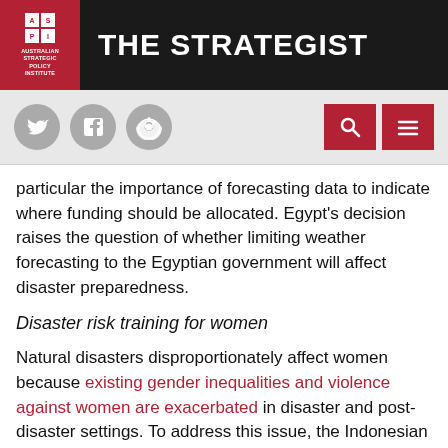THE STRATEGIST — Australian Strategic Policy Institute
particular the importance of forecasting data to indicate where funding should be allocated. Egypt's decision raises the question of whether limiting weather forecasting to the Egyptian government will affect disaster preparedness.
Disaster risk training for women
Natural disasters disproportionately affect women because existing gender inequalities and violence against women are exacerbated in disaster and post-disaster settings. To address this issue, the Indonesian YAKKUM Emergency Unit trains women in disaster management. Women have been trained in evacuation procedures and first aid, empowering them with knowledge of how best to respond during a natural disaster. The project realises the importance of women's more intimate